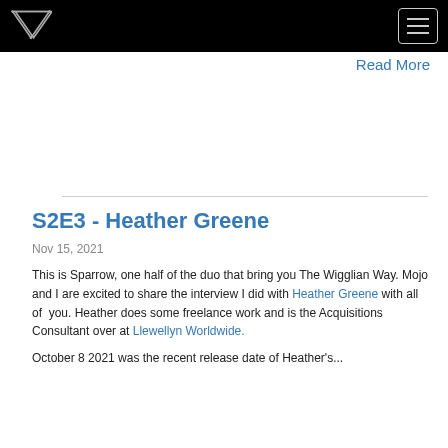The Wigglian Way logo and navigation menu
Read More
S2E3 - Heather Greene
Nov 15, 2021
This is Sparrow, one half of the duo that bring you The Wigglian Way. Mojo and I are excited to share the interview I did with Heather Greene with all of you. Heather does some freelance work and is the Acquisitions Consultant over at Llewellyn Worldwide.
October 8 2021 was the recent release date of Heather's...